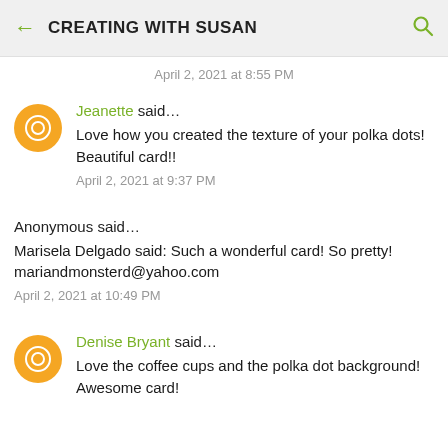← CREATING WITH SUSAN 🔍
April 2, 2021 at 8:55 PM
Jeanette said… Love how you created the texture of your polka dots! Beautiful card!! April 2, 2021 at 9:37 PM
Anonymous said… Marisela Delgado said: Such a wonderful card! So pretty! mariandmonsterd@yahoo.com April 2, 2021 at 10:49 PM
Denise Bryant said… Love the coffee cups and the polka dot background! Awesome card!